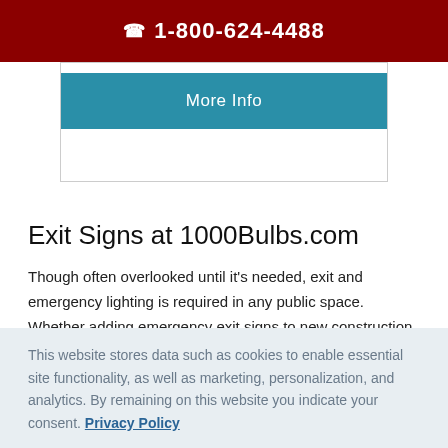☎ 1-800-624-4488
[Figure (screenshot): More Info button in teal/blue color inside a white card area]
Exit Signs at 1000Bulbs.com
Though often overlooked until it's needed, exit and emergency lighting is required in any public space. Whether adding emergency exit signs to new construction or replacing old units, check for building code changes for updates on color and lighting requirements. Below are a
This website stores data such as cookies to enable essential site functionality, as well as marketing, personalization, and analytics. By remaining on this website you indicate your consent. Privacy Policy